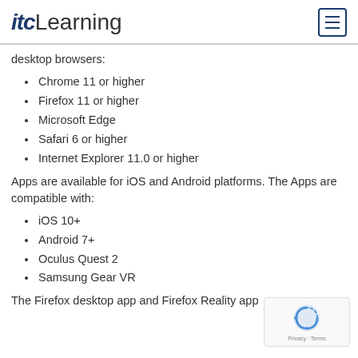itcLearning
desktop browsers:
Chrome 11 or higher
Firefox 11 or higher
Microsoft Edge
Safari 6 or higher
Internet Explorer 11.0 or higher
Apps are available for iOS and Android platforms. The Apps are compatible with:
iOS 10+
Android 7+
Oculus Quest 2
Samsung Gear VR
The Firefox desktop app and Firefox Reality app